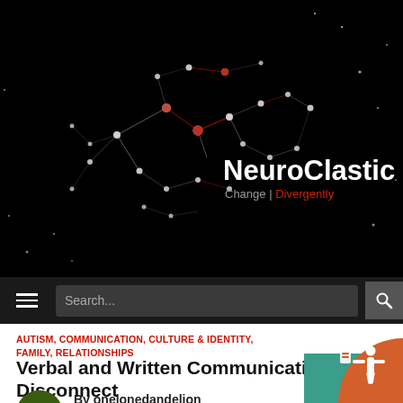The Autism Spectrum According to Autistic People
[Figure (logo): NeuroClastic logo with network/brain graphic and text 'NeuroClastic Change | Divergently']
Search...
AUTISM, COMMUNICATION, CULTURE & IDENTITY, FAMILY, RELATIONSHIPS
Verbal and Written Communication: The Disconnect
By onelonedandelion
November 4, 2018